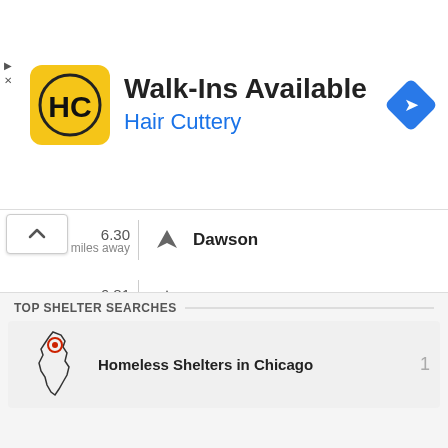[Figure (infographic): Advertisement banner for Hair Cuttery showing logo, 'Walk-Ins Available' text, and a navigation arrow icon]
6.30 miles away — Dawson
6.81 miles away — Minburn
8.47 miles away — Rippey
9.22 miles away — Woodward
10.80 miles away — Jamaica
TOP SHELTER SEARCHES
Homeless Shelters in Chicago  1